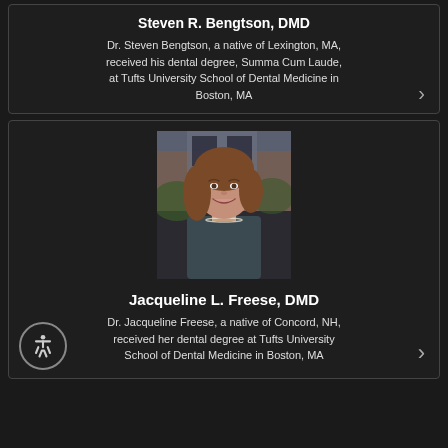Steven R. Bengtson, DMD
Dr. Steven Bengtson, a native of Lexington, MA, received his dental degree, Summa Cum Laude, at Tufts University School of Dental Medicine in Boston, MA
[Figure (photo): Portrait photo of Dr. Jacqueline L. Freese, a woman with long brown hair, wearing a dark top and pearl necklace, smiling outdoors in front of a brick building]
Jacqueline L. Freese, DMD
Dr. Jacqueline Freese, a native of Concord, NH, received her dental degree at Tufts University School of Dental Medicine in Boston, MA